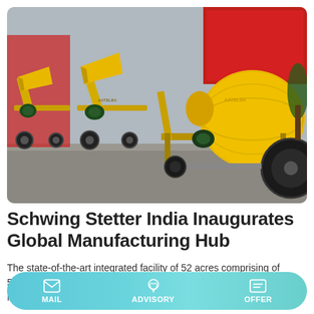[Figure (photo): Yellow concrete mixer machines / batch mix plants lined up in a factory courtyard with Chinese banners in the background]
Schwing Stetter India Inaugurates Global Manufacturing Hub
The state-of-the-art integrated facility of 52 acres comprising of 50,000 square metres of built up area will now become a Global Manufacturing hub for Schwing's concrete boom
MAIL  ADVISORY  OFFER